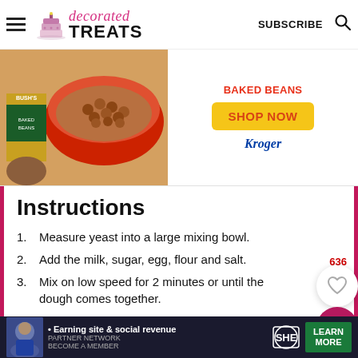Decorated Treats - SUBSCRIBE
[Figure (photo): Advertisement banner showing Bush's Baked Beans can with bowl of beans, Shop Now button, and Kroger logo]
Instructions
1. Measure yeast into a large mixing bowl.
2. Add the milk, sugar, egg, flour and salt.
3. Mix on low speed for 2 minutes or until the dough comes together.
4. Add butter and continue kneading on medium-low speed until the butter is all
[Figure (photo): SHE Media partner network advertisement banner at bottom of page]